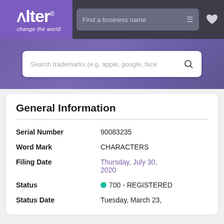[Figure (logo): Alter logo with tagline 'change the world' in purple box, navigation bar with search field 'Find a business name' and heart icon]
[Figure (screenshot): Purple banner with search bar placeholder 'Search trademarks (e.g. apple, google, face' and search icon]
General Information
| Field | Value |
| --- | --- |
| Serial Number | 90083235 |
| Word Mark | CHARACTERS |
| Filing Date | Thursday, July 30, 2020 |
| Status | 700 - REGISTERED |
| Status Date | Tuesday, March 23, |